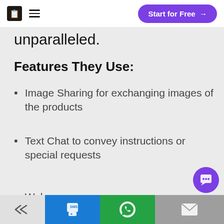Start for Free →
unparalleled.
Features They Use:
Image Sharing for exchanging images of the products
Text Chat to convey instructions or special requests
Web...